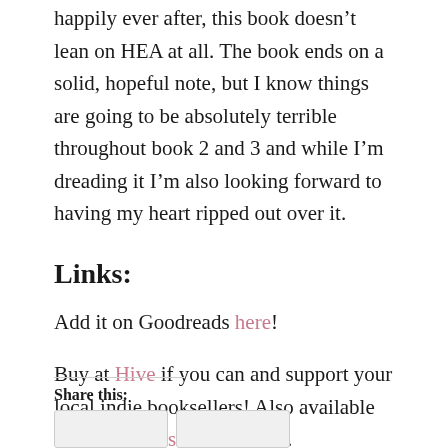happily ever after, this book doesn't lean on HEA at all. The book ends on a solid, hopeful note, but I know things are going to be absolutely terrible throughout book 2 and 3 and while I'm dreading it I'm also looking forward to having my heart ripped out over it.
Links:
Add it on Goodreads here!
Buy at Hive if you can and support your local indie booksellers! Also available at Waterstones and Amazon.
Share this: